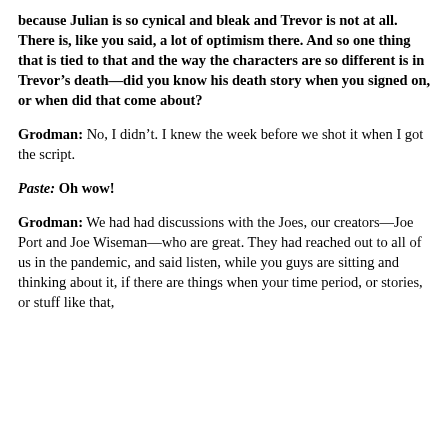because Julian is so cynical and bleak and Trevor is not at all. There is, like you said, a lot of optimism there. And so one thing that is tied to that and the way the characters are so different is in Trevor's death—did you know his death story when you signed on, or when did that come about?
Grodman: No, I didn't. I knew the week before we shot it when I got the script.
Paste: Oh wow!
Grodman: We had had discussions with the Joes, our creators—Joe Port and Joe Wiseman—who are great. They had reached out to all of us in the pandemic, and said listen, while you guys are sitting and thinking about it, if there are things when your time period, or stories, or stuff like that, they were all like feed forward and we were encouraged to...